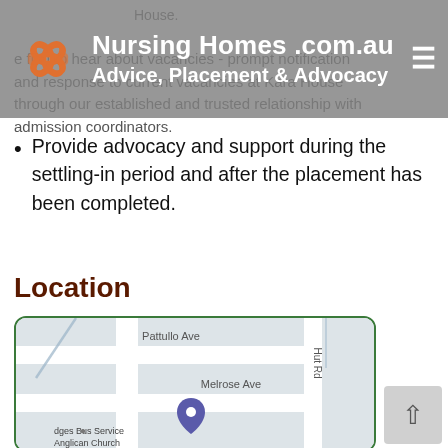Nursing Homes .com.au — Advice, Placement & Advocacy
House.
Be first to hear about vacancies - prompt notification and response to current vacancies at Kara House through our established and trusted relationship with admission coordinators.
Provide advocacy and support during the settling-in period and after the placement has been completed.
Location
[Figure (map): Street map showing location near Pattullo Ave, Melrose Ave, Hut Rd, with a map pin marker, Adges Bus Service, and Anglican Church labels]